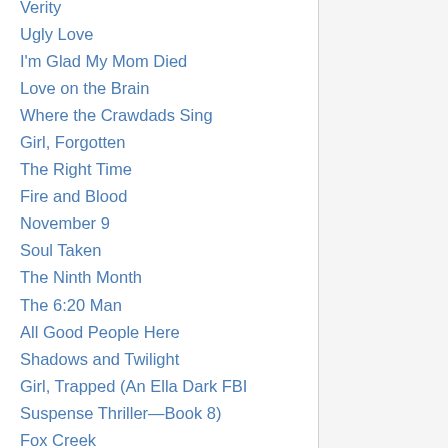Verity
Ugly Love
I'm Glad My Mom Died
Love on the Brain
Where the Crawdads Sing
Girl, Forgotten
The Right Time
Fire and Blood
November 9
Soul Taken
The Ninth Month
The 6:20 Man
All Good People Here
Shadows and Twilight
Girl, Trapped (An Ella Dark FBI Suspense Thriller—Book 8)
Fox Creek
Breaking History
Heartbreaker
Wrong Place Wrong Time
Ruby Fever